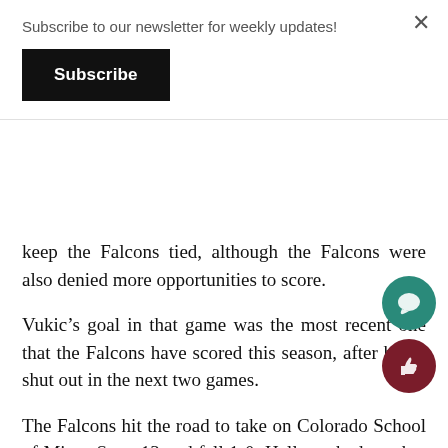Subscribe to our newsletter for weekly updates!
Subscribe
keep the Falcons tied, although the Falcons were also denied more opportunities to score.
Vukic’s goal in that game was the most recent one that the Falcons have scored this season, after being shut out in the next two games.
The Falcons hit the road to take on Colorado School of Mines Sept. 13 and fell 1-0. Helleren had another great performance, making 9 saves and only being beaten by one goal by Lucas that deflected off an SPU player and into the net. The Falcons also had some good shot opportunities but couldn’t get the ball past